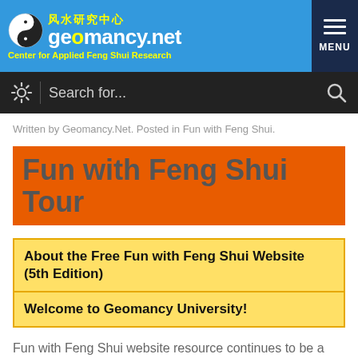风水研究中心 geomancy.net Center for Applied Feng Shui Research MENU
Search for...
Written by Geomancy.Net. Posted in Fun with Feng Shui.
Fun with Feng Shui Tour
| About the Free Fun with Feng Shui Website (5th Edition) |
| Welcome to Geomancy University! |
Fun with Feng Shui website resource continues to be a highly informative Free learning